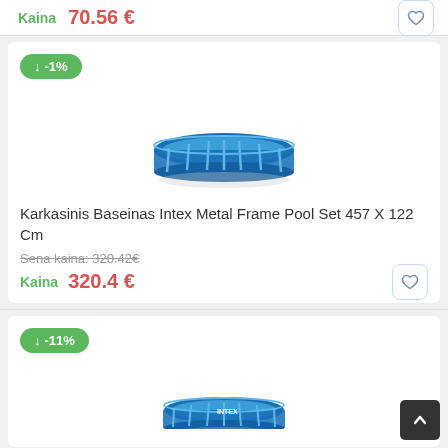Kaina 70.56 €
[Figure (photo): Blue round above-ground metal frame swimming pool (first product)]
Karkasinis Baseinas Intex Metal Frame Pool Set 457 X 122 Cm
Sena kaina: 320.42€
Kaina 320.4 €
[Figure (photo): Blue round above-ground metal frame swimming pool (second product, smaller)]